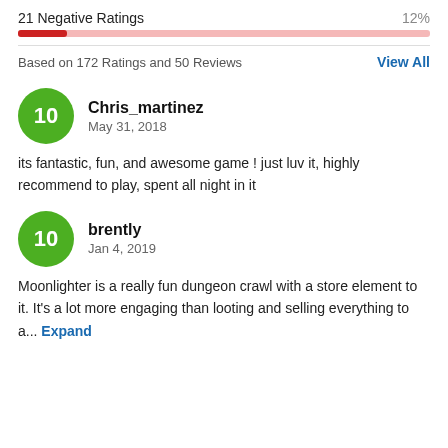21 Negative Ratings   12%
[Figure (other): Progress bar showing 12% negative ratings, red fill on pink background]
Based on 172 Ratings and 50 Reviews
View All
Chris_martinez
May 31, 2018
its fantastic, fun, and awesome game ! just luv it, highly recommend to play, spent all night in it
brently
Jan 4, 2019
Moonlighter is a really fun dungeon crawl with a store element to it. It's a lot more engaging than looting and selling everything to a... Expand